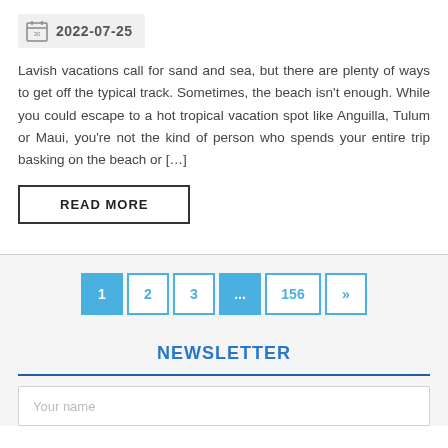2022-07-25
Lavish vacations call for sand and sea, but there are plenty of ways to get off the typical track. Sometimes, the beach isn't enough. While you could escape to a hot tropical vacation spot like Anguilla, Tulum or Maui, you're not the kind of person who spends your entire trip basking on the beach or [...]
READ MORE
1  2  3  ...  156  »
NEWSLETTER
Your name